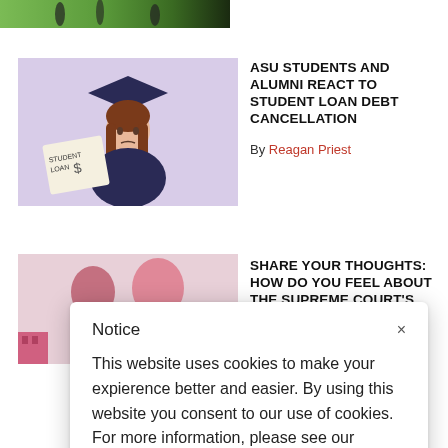[Figure (illustration): Top green soccer field strip image with players]
[Figure (illustration): Illustration of a graduation-capped student holding a student loan document with dollar sign]
ASU STUDENTS AND ALUMNI REACT TO STUDENT LOAN DEBT CANCELLATION
By Reagan Priest
[Figure (illustration): Illustration of two silhouetted figures in pink/mauve tones]
SHARE YOUR THOUGHTS: HOW DO YOU FEEL ABOUT THE SUPREME COURT'S
Notice
This website uses cookies to make your expierence better and easier. By using this website you consent to our use of cookies. For more information, please see our Cookie Policy.